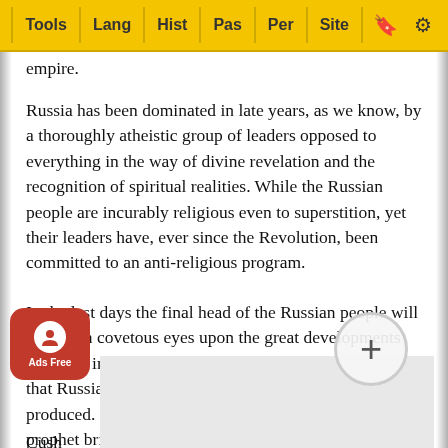Tools | Lang | Hist | Pas | Per | Site
empire.
Russia has been dominated in late years, as we know, by a thoroughly atheistic group of leaders opposed to everything in the way of divine revelation and the recognition of spiritual realities. While the Russian people are incurably religious even to superstition, yet their leaders have, ever since the Revolution, been committed to an anti-religious program.
In the last days the final head of the Russian people will look with covetous eyes upon the great developments going on in the land of Palestine, and will determine that Russia must have her part of the wealth there produced. Consequently, ...have the picture which the prophet brings before u... ...vast army augmented by warriors from Persia, Cush, and Put, marching down toward Palestine.
Cush ...ush in the A... ...he